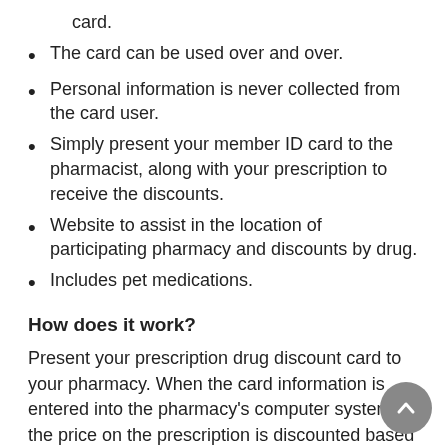card.
The card can be used over and over.
Personal information is never collected from the card user.
Simply present your member ID card to the pharmacist, along with your prescription to receive the discounts.
Website to assist in the location of participating pharmacy and discounts by drug.
Includes pet medications.
How does it work?
Present your prescription drug discount card to your pharmacy. When the card information is entered into the pharmacy's computer system, the price on the prescription is discounted based on the pharmacy's agreement with our program.